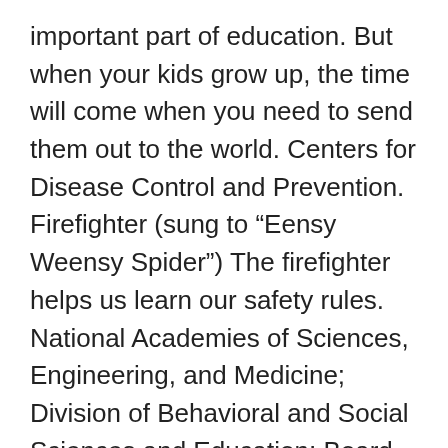important part of education. But when your kids grow up, the time will come when you need to send them out to the world. Centers for Disease Control and Prevention. Firefighter (sung to “Eensy Weensy Spider”) The firefighter helps us learn our safety rules. National Academies of Sciences, Engineering, and Medicine; Division of Behavioral and Social Sciences and Education; Board on Children, Youth, and Families; Committee on Supporting the Parents of Young Children; Breiner H, Ford M, Gadsden VL, editors. Take a tour of your house together. All children regardless of age should know how to use a telephone and ask for help. For example: Creating healthy habits and routines